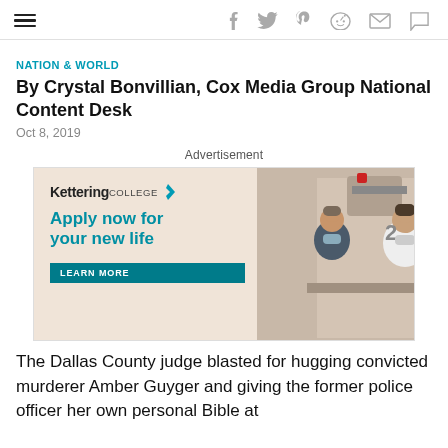[hamburger menu] [social icons: facebook, twitter, pinterest, reddit, email, comment]
NATION & WORLD
By Crystal Bonvillian, Cox Media Group National Content Desk
Oct 8, 2019
Advertisement
[Figure (other): Kettering College advertisement: 'Apply now for your new life' with LEARN MORE button and photo of medical professionals in a clinical setting]
The Dallas County judge blasted for hugging convicted murderer Amber Guyger and giving the former police officer her own personal Bible at